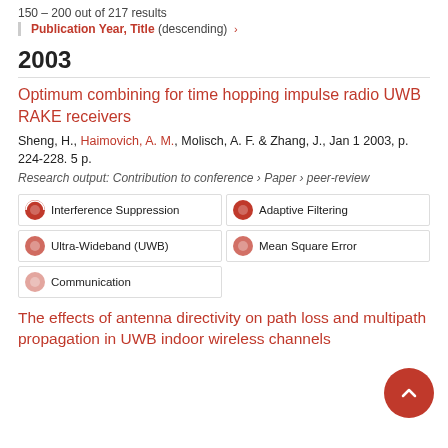150 – 200 out of 217 results
Publication Year, Title (descending) ›
2003
Optimum combining for time hopping impulse radio UWB RAKE receivers
Sheng, H., Haimovich, A. M., Molisch, A. F. & Zhang, J., Jan 1 2003, p. 224-228. 5 p.
Research output: Contribution to conference › Paper › peer-review
Interference Suppression
Adaptive Filtering
Ultra-Wideband (UWB)
Mean Square Error
Communication
The effects of antenna directivity on path loss and multipath propagation in UWB indoor wireless channels